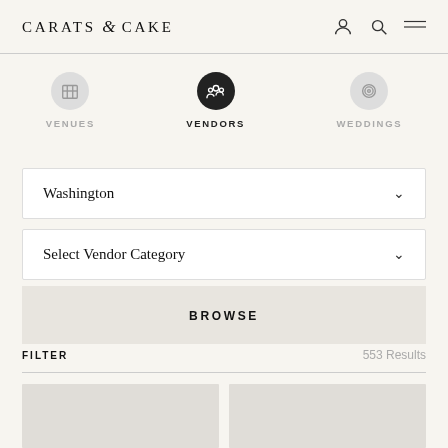CARATS & CAKE
VENUES
VENDORS
WEDDINGS
Washington
Select Vendor Category
BROWSE
FILTER
553 Results
[Figure (other): Two placeholder image cards at the bottom of the page]